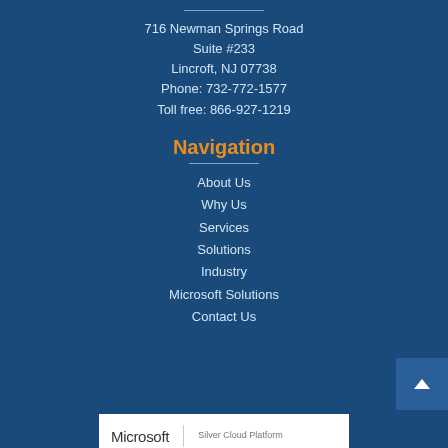716 Newman Springs Road
Suite #233
Lincroft, NJ 07738
Phone: 732-772-1577
Toll free: 866-927-1219
Navigation
About Us
Why Us
Services
Solutions
Industry
Microsoft Solutions
Contact Us
[Figure (logo): Microsoft Silver Cloud Platform logo banner at bottom of page]